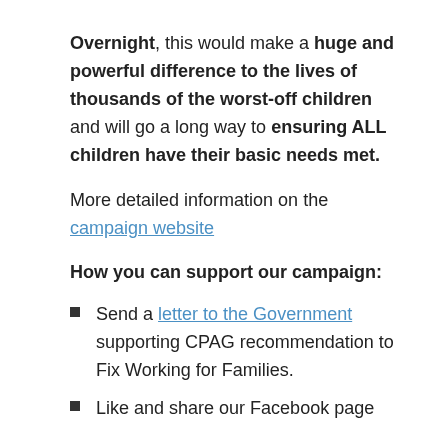Overnight, this would make a huge and powerful difference to the lives of thousands of the worst-off children and will go a long way to ensuring ALL children have their basic needs met.
More detailed information on the campaign website
How you can support our campaign:
Send a letter to the Government supporting CPAG recommendation to Fix Working for Families.
Like and share our Facebook page